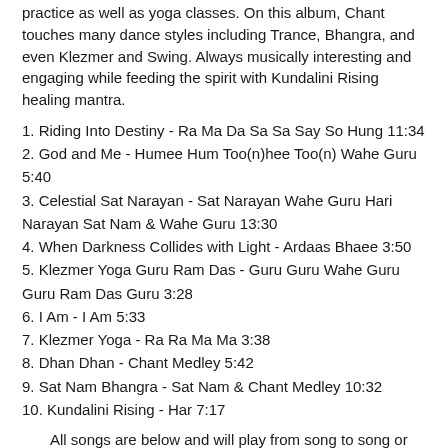practice as well as yoga classes. On this album, Chant touches many dance styles including Trance, Bhangra, and even Klezmer and Swing. Always musically interesting and engaging while feeding the spirit with Kundalini Rising healing mantra.
1. Riding Into Destiny - Ra Ma Da Sa Sa Say So Hung 11:34
2. God and Me - Humee Hum Too(n)hee Too(n) Wahe Guru 5:40
3. Celestial Sat Narayan - Sat Narayan Wahe Guru Hari Narayan Sat Nam & Wahe Guru 13:30
4. When Darkness Collides with Light - Ardaas Bhaee 3:50
5. Klezmer Yoga Guru Ram Das - Guru Guru Wahe Guru Guru Ram Das Guru 3:28
6. I Am - I Am 5:33
7. Klezmer Yoga - Ra Ra Ma Ma 3:38
8. Dhan Dhan - Chant Medley 5:42
9. Sat Nam Bhangra - Sat Nam & Chant Medley 10:32
10. Kundalini Rising - Har 7:17
All songs are below and will play from song to song or scroll down and select: